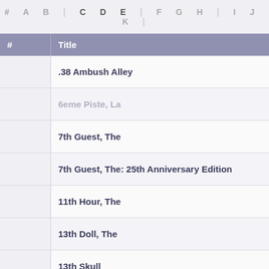# A B | C D E | F G H | I J K |
| # | Title |
| --- | --- |
|  | .38 Ambush Alley |
|  | 6eme Piste, La |
|  | 7th Guest, The |
|  | 7th Guest, The: 25th Anniversary Edition |
|  | 11th Hour, The |
|  | 13th Doll, The |
|  | 13th Skull |
| A | Title |